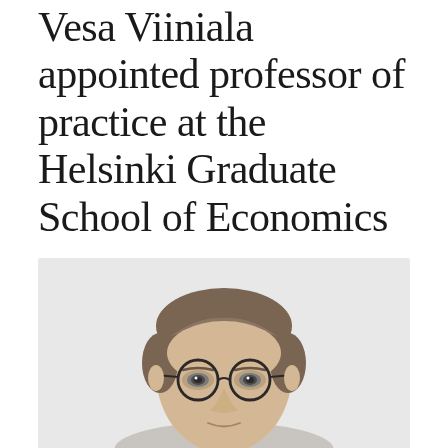Vesa Viiniala appointed professor of practice at the Helsinki Graduate School of Economics
[Figure (photo): Portrait photograph of a middle-aged man with brown hair, wearing round black-framed glasses, against a light grey background. The photo is cropped to show his head and upper shoulders.]